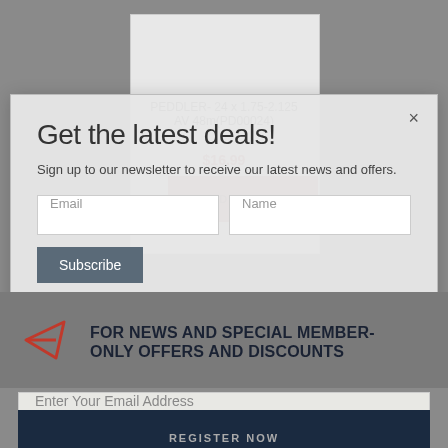PEDDLER- 24 x 1.75-2.125 AV 48m(PD00024)
$16.99
ADD TO CART
Get the latest deals!
Sign up to our newsletter to receive our latest news and offers.
Email
Name
Subscribe
I have read and agree to Terms & Conditions & Privacy Policy.
FOR NEWS AND SPECIAL MEMBER-ONLY OFFERS AND DISCOUNTS
Enter Your Email Address
REGISTER NOW